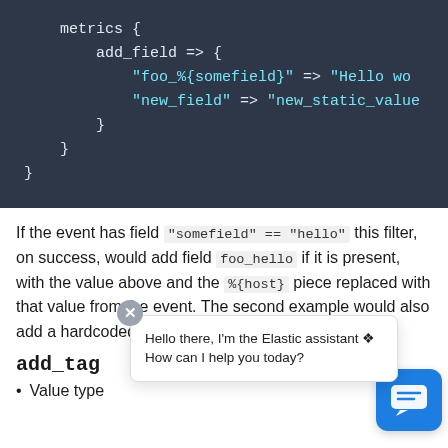[Figure (screenshot): Dark-themed code block showing Logstash/config syntax with metrics, add_field, foo_%{somefield} and new_field entries]
If the event has field "somefield" == "hello" this filter, on success, would add field foo_hello if it is present, with the value above and the %{host} piece replaced with that value from the event. The second example would also add a hardcoded field.
add_tag
Value type